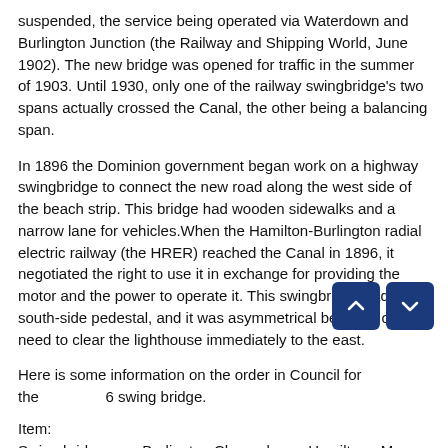suspended, the service being operated via Waterdown and Burlington Junction (the Railway and Shipping World, June 1902). The new bridge was opened for traffic in the summer of 1903. Until 1930, only one of the railway swingbridge's two spans actually crossed the Canal, the other being a balancing span.
In 1896 the Dominion government began work on a highway swingbridge to connect the new road along the west side of the beach strip. This bridge had wooden sidewalks and a narrow lane for vehicles.When the Hamilton-Burlington radial electric railway (the HRER) reached the Canal in 1896, it negotiated the right to use it in exchange for providing the motor and the power to operate it. This swingbridge had a south-side pedestal, and it was asymmetrical because of the need to clear the lighthouse immediately to the east.
Here is some information on the order in Council for the 1896 swing bridge.
Item:
Swing bridge over Burlington Channel near Hamilton - M. P.W. [Minister of Public Works] 1895/12/16 recds. [recommends] setting